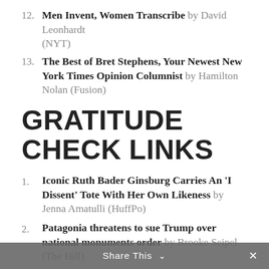12. Men Invent, Women Transcribe by David Leonhardt (NYT)
13. The Best of Bret Stephens, Your Newest New York Times Opinion Columnist by Hamilton Nolan (Fusion)
GRATITUDE CHECK LINKS
1. Iconic Ruth Bader Ginsburg Carries An 'I Dissent' Tote With Her Own Likeness by Jenna Amatulli (HuffPo)
2. Patagonia threatens to sue Trump over national monuments order by Brooke Seipel (The Hill)
3. Record-breaking Black Friday Sales to Benefit the Planet by Rose Marcario (Patagonia Blog)
Share This ∨  ✕